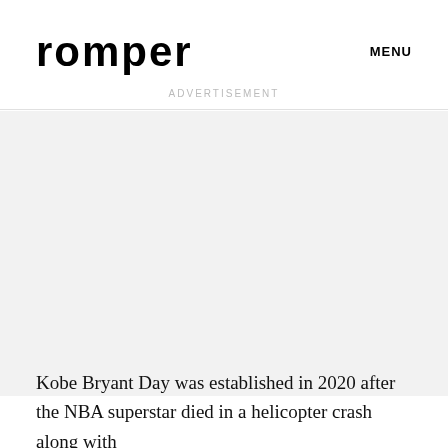to four daughters himself...
romper   MENU
[Figure (other): Advertisement placeholder area with light gray background]
Kobe Bryant Day was established in 2020 after the NBA superstar died in a helicopter crash along with